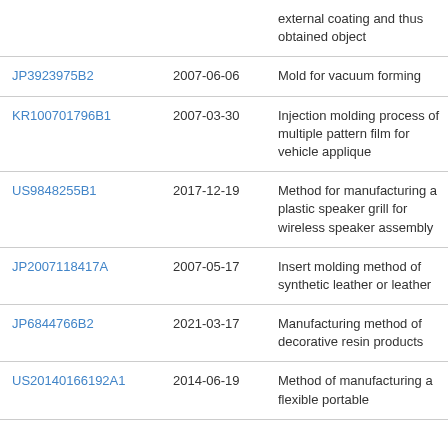| Publication | Date | Title |
| --- | --- | --- |
|  |  | external coating and thus obtained object |
| JP3923975B2 | 2007-06-06 | Mold for vacuum forming |
| KR100701796B1 | 2007-03-30 | Injection molding process of multiple pattern film for vehicle applique |
| US9848255B1 | 2017-12-19 | Method for manufacturing a plastic speaker grill for wireless speaker assembly |
| JP2007118417A | 2007-05-17 | Insert molding method of synthetic leather or leather |
| JP6844766B2 | 2021-03-17 | Manufacturing method of decorative resin products |
| US20140166192A1 | 2014-06-19 | Method of manufacturing a flexible portable |